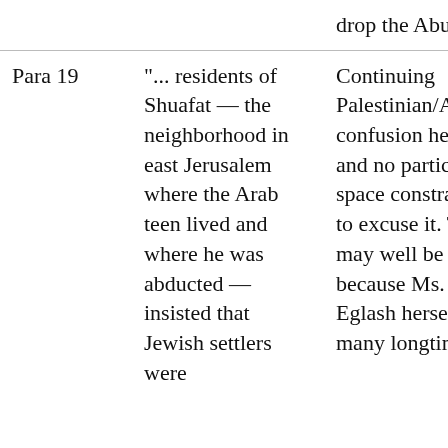|  |  | drop the Abu part. |
| Para 19 | "... residents of Shuafat — the neighborhood in east Jerusalem where the Arab teen lived and where he was abducted — insisted that Jewish settlers were... | Continuing Palestinian/Arab confusion here-- and no particular space constraints to excuse it. This may well be because Ms. Eglash herself, like many longtime... |